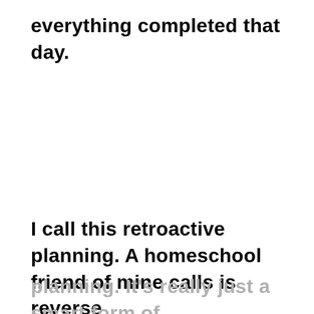everything completed that day.
I call this retroactive planning. A homeschool friend of mine calls is reverse planning. It's really just a smart form of recordkeeping!